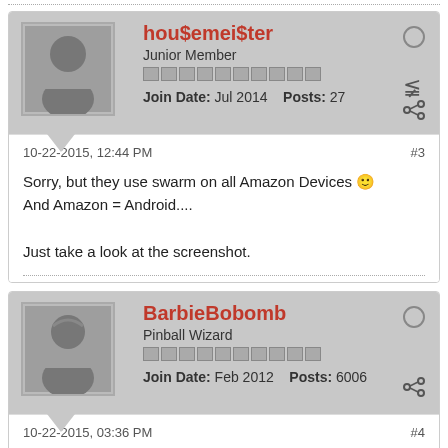hou$emei$ter — Junior Member — Join Date: Jul 2014  Posts: 27
10-22-2015, 12:44 PM  #3
Sorry, but they use swarm on all Amazon Devices 🙂
And Amazon = Android....

Just take a look at the screenshot.
BarbieBobomb — Pinball Wizard — Join Date: Feb 2012  Posts: 6006
10-22-2015, 03:36 PM  #4